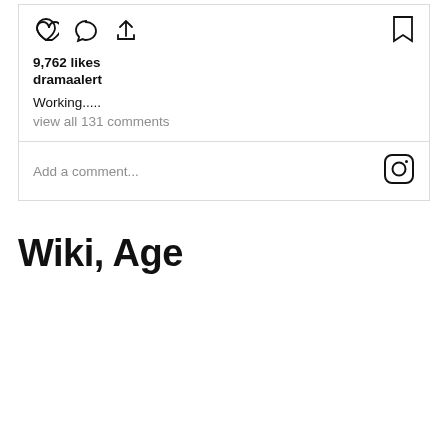[Figure (screenshot): Instagram post interaction icons: heart, comment bubble, share arrow on left; bookmark on right]
9,762 likes
dramaalert
Working.....
view all 131 comments
Add a comment...
[Figure (logo): Instagram logo icon (camera icon inside rounded square)]
Wiki, Age